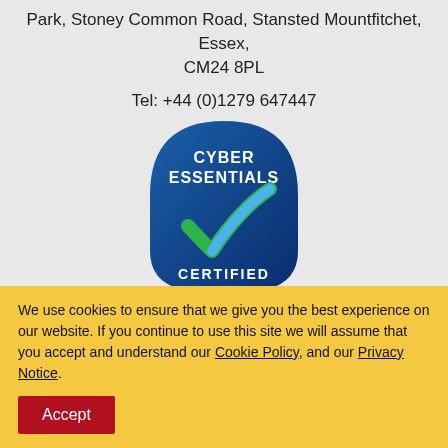Park, Stoney Common Road, Stansted Mountfitchet, Essex, CM24 8PL
Tel: +44 (0)1279 647447
[Figure (logo): Cyber Essentials Certified badge - blue shield shape with white text 'CYBER ESSENTIALS' at top and 'CERTIFIED' at bottom, with a green and blue checkmark in the center]
[Figure (logo): Social media icons: Facebook (f), LinkedIn (in), Twitter (bird) - white icons on black rounded square backgrounds]
Insight Associates Limited. Registered in England and Wales Number:
We use cookies to ensure that we give you the best experience on our website. If you continue to use this site we will assume that you accept and understand our Cookie Policy, and our Privacy Notice.
Accept